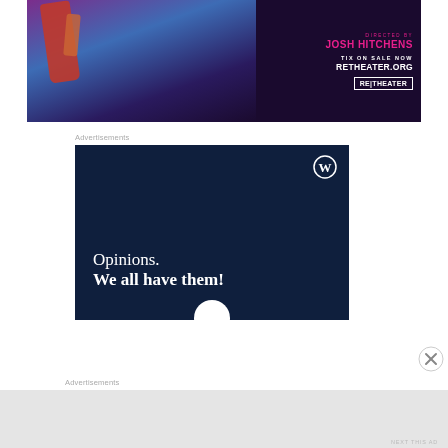[Figure (photo): Theater advertisement banner with performer in colorful costume on dark background. Text reads 'Directed by Josh Hitchens / Tix on sale now / RETHEATER.ORG' with RE|THEATER logo box.]
Advertisements
[Figure (photo): WordPress advertisement on dark navy background. WordPress logo (W in circle) top right. Text reads 'Opinions. We all have them!' in white serif font.]
Advertisements